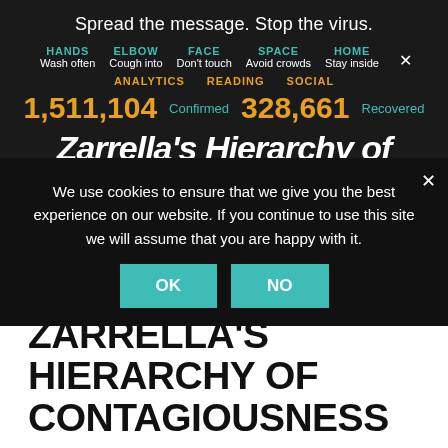Spread the message. Stop the virus.
HANDS Wash often  ELBOW Cough into  FACE Don't touch  SPACE Avoid crowds  HOME Stay inside
ANALYTICS  READING  SOCIAL
1,511,104 Confirmed  328,661 Recovered
Zarrella's Hierarchy of
We use cookies to ensure that we give you the best experience on our website. If you continue to use this site we will assume that you are happy with it.
OK  NO
By Christoph Papenfuss    January 12, 2012
2 Comments
ZARRELLA'S HIERARCHY OF CONTAGIOUSNESS